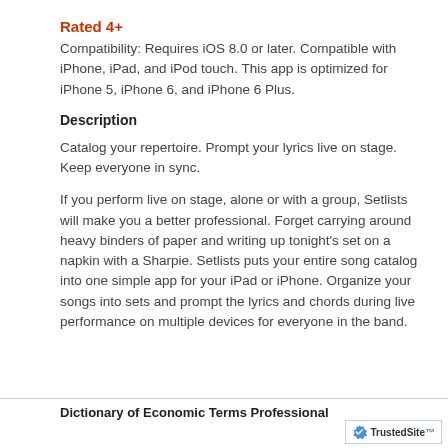Rated 4+
Compatibility: Requires iOS 8.0 or later. Compatible with iPhone, iPad, and iPod touch. This app is optimized for iPhone 5, iPhone 6, and iPhone 6 Plus.
Description
Catalog your repertoire. Prompt your lyrics live on stage. Keep everyone in sync.
If you perform live on stage, alone or with a group, Setlists will make you a better professional. Forget carrying around heavy binders of paper and writing up tonight's set on a napkin with a Sharpie. Setlists puts your entire song catalog into one simple app for your iPad or iPhone. Organize your songs into sets and prompt the lyrics and chords during live performance on multiple devices for everyone in the band.
Dictionary of Economic Terms Professional